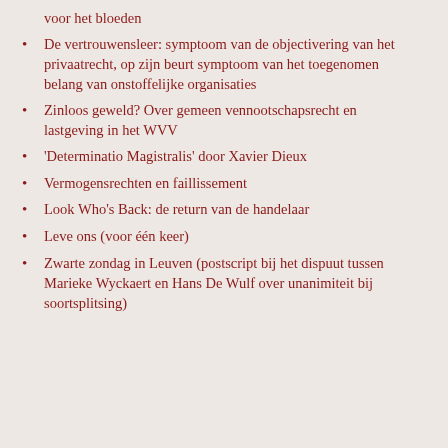voor het bloeden
De vertrouwensleer: symptoom van de objectivering van het privaatrecht, op zijn beurt symptoom van het toegenomen belang van onstoffelijke organisaties
Zinloos geweld? Over gemeen vennootschapsrecht en lastgeving in het WVV
'Determinatio Magistralis' door Xavier Dieux
Vermogensrechten en faillissement
Look Who's Back: de return van de handelaar
Leve ons (voor één keer)
Zwarte zondag in Leuven (postscript bij het dispuut tussen Marieke Wyckaert en Hans De Wulf over unanimiteit bij soortsplitsing)